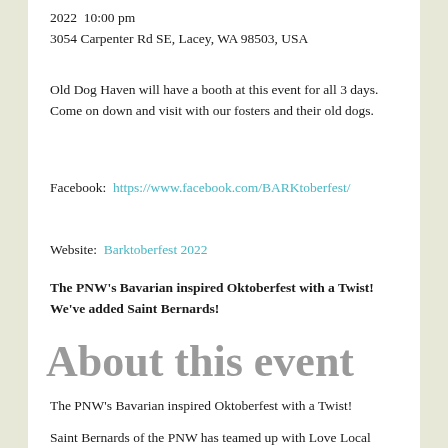2022  10:00 pm
3054 Carpenter Rd SE, Lacey, WA 98503, USA
Old Dog Haven will have a booth at this event for all 3 days.  Come on down and visit with our fosters and their old dogs.
Facebook:  https://www.facebook.com/BARKtoberfest/
Website:  Barktoberfest 2022
The PNW's Bavarian inspired Oktoberfest with a Twist! We've added Saint Bernards!
About this event
The PNW's Bavarian inspired Oktoberfest with a Twist!
Saint Bernards of the PNW has teamed up with Love Local Events to bring you this fun new twist on Oktoberfest featuring our furry friends the Saint